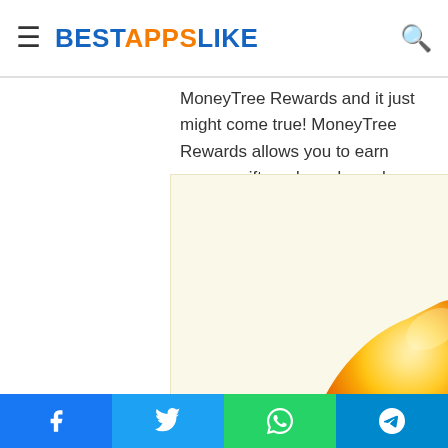BESTAPPSLIKE
MoneyTree Rewards and it just might come true! MoneyTree Rewards allows you to earn money, gift cards and vouchers online! + Earn points by trying
[Figure (illustration): A golden/yellow teardrop-shaped leaf logo on a light cream/yellow background, representing the MoneyTree Rewards app icon.]
Similarity Rate : 36 %  –
Similar Apps